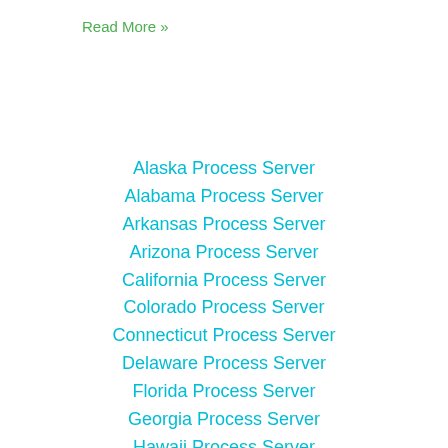Read More »
Alaska Process Server
Alabama Process Server
Arkansas Process Server
Arizona Process Server
California Process Server
Colorado Process Server
Connecticut Process Server
Delaware Process Server
Florida Process Server
Georgia Process Server
Hawaii Process Server
Iowa Process Server
Idaho Process Server
Illinois Process Server
Indiana Process Server
Kansas Process Server